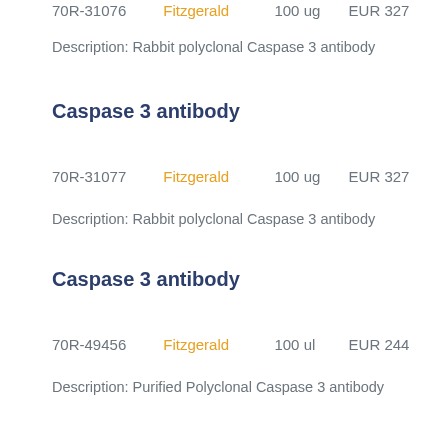70R-31076   Fitzgerald   100 ug   EUR 327
Description: Rabbit polyclonal Caspase 3 antibody
Caspase 3 antibody
70R-31077   Fitzgerald   100 ug   EUR 327
Description: Rabbit polyclonal Caspase 3 antibody
Caspase 3 antibody
70R-49456   Fitzgerald   100 ul   EUR 244
Description: Purified Polyclonal Caspase 3 antibody